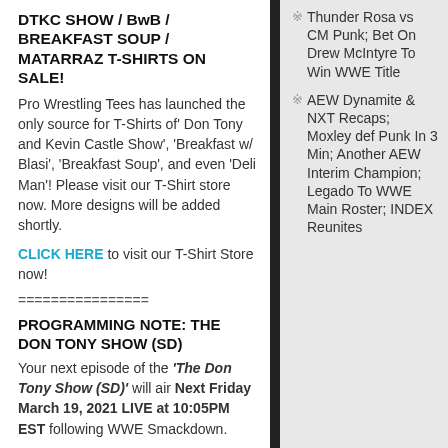DTKC SHOW / BwB / BREAKFAST SOUP / MATARRAZ T-SHIRTS ON SALE!
Pro Wrestling Tees has launched the only source for T-Shirts of 'Don Tony and Kevin Castle Show', 'Breakfast w/ Blasi', 'Breakfast Soup', and even 'Deli Man'! Please visit our T-Shirt store now. More designs will be added shortly.
CLICK HERE to visit our T-Shirt Store now!
================
PROGRAMMING NOTE: THE DON TONY SHOW (SD)
Your next episode of the 'The Don Tony Show (SD)' will air Next Friday March 19, 2021 LIVE at 10:05PM EST following WWE Smackdown.
PROGRAMMING NOTE:
Thunder Rosa vs CM Punk; Bet On Drew McIntyre To Win WWE Title
AEW Dynamite & NXT Recaps; Moxley def Punk In 3 Min; Another AEW Interim Champion; Legado To WWE Main Roster; INDEX Reunites